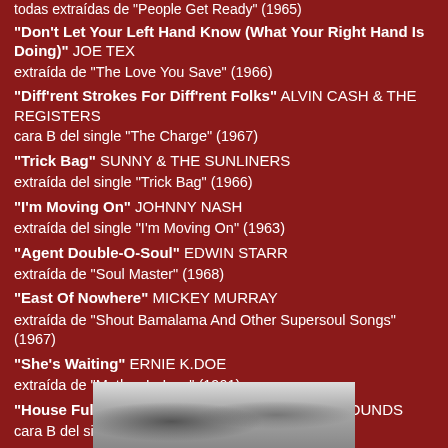todas extraídas de "People Get Ready" (1965)
"Don't Let Your Left Hand Know (What Your Right Hand Is Doing)" JOE TEX
extraída de "The Love You Save" (1966)
"Diff'rent Strokes For Diff'rent Folks" ALVIN CASH & THE REGISTERS
cara B del single "The Charge" (1967)
"Trick Bag" SUNNY & THE SUNLINERS
extraída del single "Trick Bag" (1966)
"I'm Moving On" JOHNNY NASH
extraída del single "I'm Moving On" (1963)
"Agent Double-O-Soul" EDWIN STARR
extraída de "Soul Master" (1968)
"East Of Nowhere" MICKEY MURRAY
extraída de "Shout Bamalama And Other Supersoul Songs" (1967)
"She's Waiting" ERNIE K.DOE
extraída de "Mother-In-Law" (1961)
"House Full Of Rooms" L.H. & THE MEMPHIS SOUNDS
cara B del single "Double Up" (1967)
[Figure (photo): Black and white photograph at bottom of page]